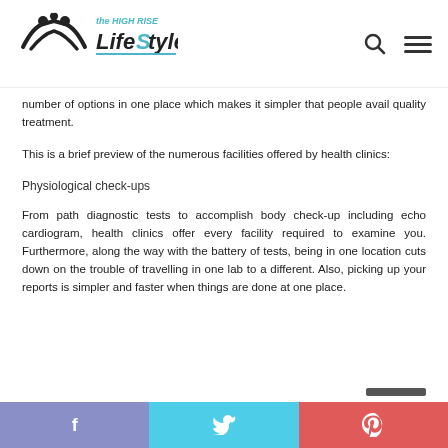the High Rise LifeStyle
number of options in one place which makes it simpler that people avail quality treatment.
This is a brief preview of the numerous facilities offered by health clinics:
Physiological check-ups
From path diagnostic tests to accomplish body check-up including echo cardiogram, health clinics offer every facility required to examine you. Furthermore, along the way with the battery of tests, being in one location cuts down on the trouble of travelling in one lab to a different. Also, picking up your reports is simpler and faster when things are done at one place.
f  t  p